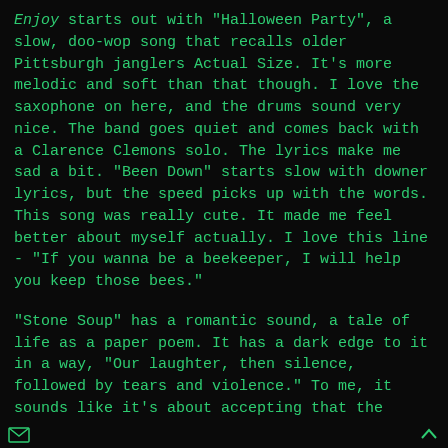Enjoy starts out with "Halloween Party", a slow, doo-wop song that recalls older Pittsburgh janglers Actual Size. It's more melodic and soft than that though. I love the saxophone on here, and the drums sound very nice. The band goes quiet and comes back with a Clarence Clemons solo. The lyrics make me sad a bit. "Been Down" starts slow with downer lyrics, but the speed picks up with the words. This song was really cute. It made me feel better about myself actually. I love this line - "If you wanna be a beekeeper, I will help you keep those bees."
"Stone Soup" has a romantic sound, a tale of life as a paper poem. It has a dark edge to it in a way, "Our laughter, then silence, followed by tears and violence." To me, it sounds like it's about accepting that the world changes and people come and go; things change from bad to